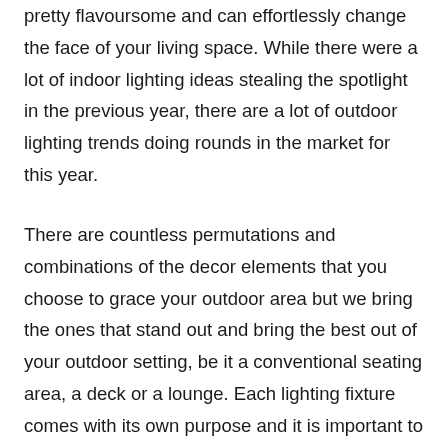some of these may not be that exciting, some are pretty flavoursome and can effortlessly change the face of your living space. While there were a lot of indoor lighting ideas stealing the spotlight in the previous year, there are a lot of outdoor lighting trends doing rounds in the market for this year.
There are countless permutations and combinations of the decor elements that you choose to grace your outdoor area but we bring the ones that stand out and bring the best out of your outdoor setting, be it a conventional seating area, a deck or a lounge. Each lighting fixture comes with its own purpose and it is important to make sure that you figure out whether you need lighting designs only to add to the ambience of the space or functionality